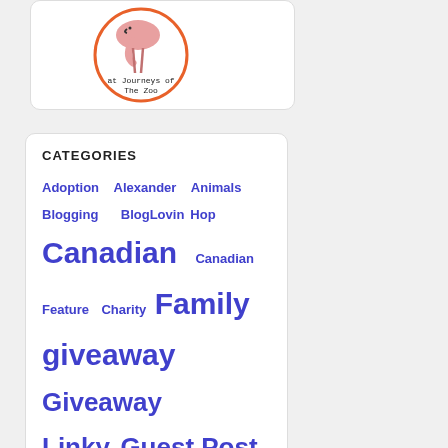[Figure (illustration): Flamingo illustration inside an orange circle with text 'at Journeys of The Zoo' below it, on a white rounded box]
CATEGORIES
Adoption  Alexander  Animals  Blogging  BlogLovin Hop  Canadian  Canadian Feature  Charity  Family  giveaway  Giveaway Linky  Guest Post  Humor  Mexico  Nipissing Developmental Checklist  Other  Ottawa  review  Summer  Travel  Triplets  Unsolicited  Wordless Wednesday